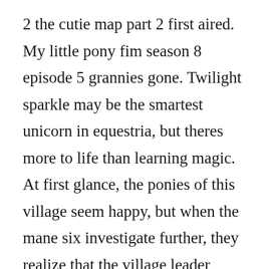2 the cutie map part 2 first aired. My little pony fim season 8 episode 5 grannies gone. Twilight sparkle may be the smartest unicorn in equestria, but theres more to life than learning magic. At first glance, the ponies of this village seem happy, but when the mane six investigate further, they realize that the village leader starlight glimmer has a. Mlp g4 episodes yay ponies archive design from bronyasia. The third season of the animated television series my little pony. Its because of contentid, all videos that contain content from my little pony friendship is magic episodes,